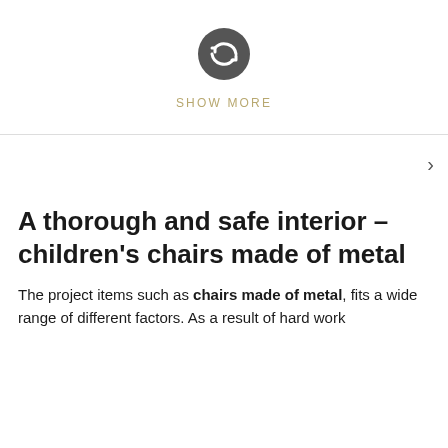[Figure (illustration): A circular refresh/sync icon with two circular arrows on a dark gray background circle, centered in the upper section of the page.]
SHOW MORE
>
A thorough and safe interior – children's chairs made of metal
The project items such as chairs made of metal, fits a wide range of different factors. As a result of hard work